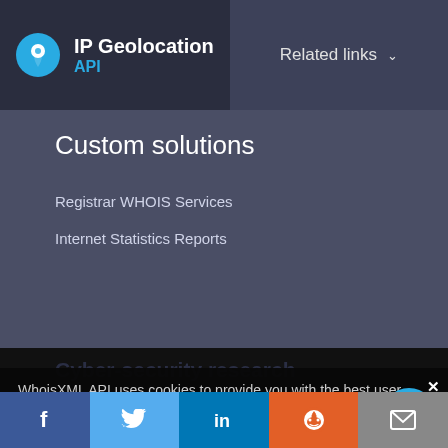IP Geolocation API
Related links
Custom solutions
Registrar WHOIS Services
Internet Statistics Reports
Cyber-security research
Threat Intelligence Platform
WhoisXML API uses cookies to provide you with the best user experience on our website. They also help us understand how our site is being used. Find out more here. By continuing to use our site you consent to the use of